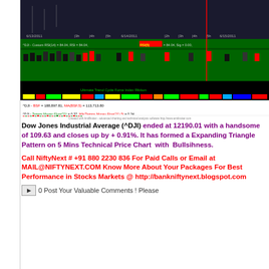[Figure (screenshot): Technical analysis chart of Dow Jones Industrial Average (^DJI) showing RSI(14), Custom RSI, BSF, MA(BSF,5), Twiggs Money Flow(21), and MA(Twiggs Money Flow(21),5) indicators. Created with AmiBroker. Dates shown: 6/13/2011, 6/14/2011, 6/15/2011. Values: BSF=188,897.81, MA(BSF,5)=113,713.80, Twiggs Money Flow(21)=0.37, MA(Twiggs Money Flow(21),5)=0.24. Ultimate Trend Cycle Force Index Ribbon shown.]
Dow Jones Industrial Average (^DJI) ended at 12190.01 with a handsome of 109.63 and closes up by + 0.91%. It has formed a Expanding Triangle Pattern on 5 Mins Technical Price Chart with Bullsihness.
Call NiftyNext # +91 880 2230 836 For Paid Calls or Email at MAIL@NIFTYNEXT.COM Know More About Your Packages For Best Performance in Stocks Markets @ http://bankniftynext.blogspot.com
0 Post Your Valuable Comments ! Please